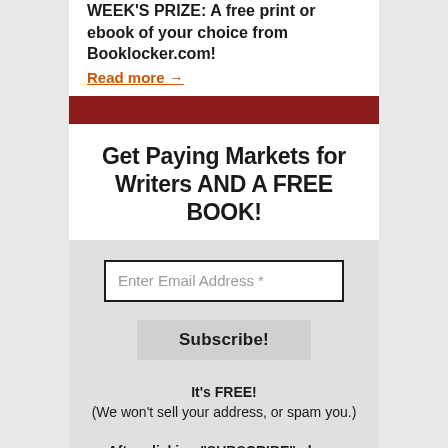WEEK'S PRIZE: A free print or ebook of your choice from Booklocker.com!
Read more →
[Figure (other): Dark red horizontal bar divider]
Get Paying Markets for Writers AND A FREE BOOK!
Enter Email Address *
Subscribe!
It's FREE! (We won't sell your address, or spam you.)
After clicking "SUBSCRIBE" above